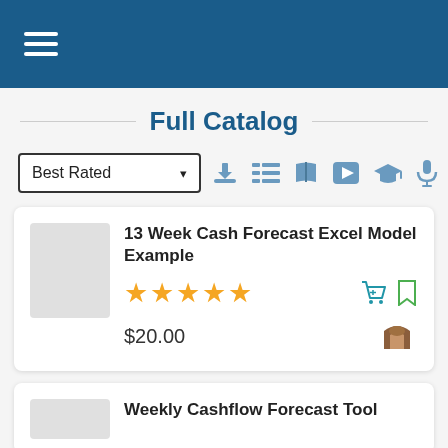Full Catalog - Mobile App Header
Full Catalog
Best Rated
13 Week Cash Flow Forecast Excel Model Example
★★★★★
$20.00
Weekly Cashflow Forecast Tool